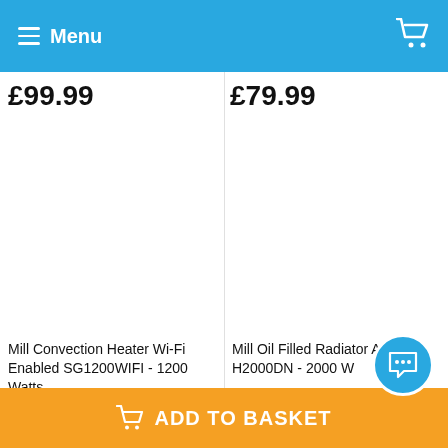Menu
£99.99
£79.99
Mill Convection Heater Wi-Fi Enabled SG1200WIFI - 1200 Watts
Mill Oil Filled Radiator AB-H2000DN - 2000 W
ADD TO BASKET